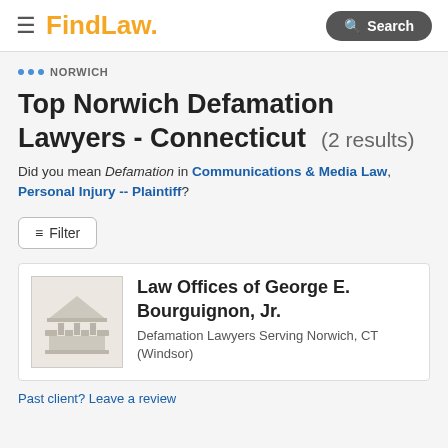FindLaw — Search
... NORWICH
Top Norwich Defamation Lawyers - Connecticut (2 results)
Did you mean Defamation in Communications & Media Law, Personal Injury -- Plaintiff?
Filter
Law Offices of George E. Bourguignon, Jr.
Defamation Lawyers Serving Norwich, CT (Windsor)
Past client? Leave a review